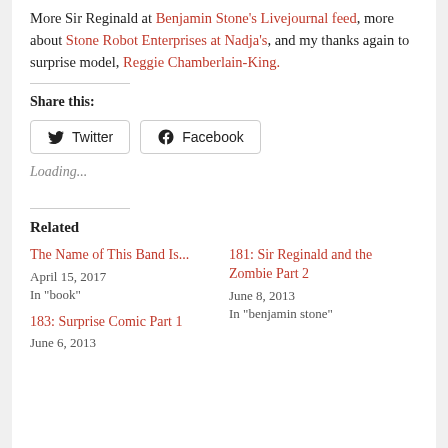More Sir Reginald at Benjamin Stone's Livejournal feed, more about Stone Robot Enterprises at Nadja's, and my thanks again to surprise model, Reggie Chamberlain-King.
Share this:
[Figure (screenshot): Twitter and Facebook share buttons]
Loading...
Related
The Name of This Band Is...
April 15, 2017
In "book"
181: Sir Reginald and the Zombie Part 2
June 8, 2013
In "benjamin stone"
183: Surprise Comic Part 1
June 6, 2013